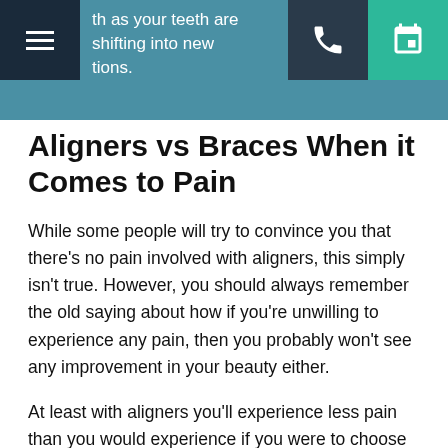th as your teeth are shifting into new positions.
Aligners vs Braces When it Comes to Pain
While some people will try to convince you that there's no pain involved with aligners, this simply isn't true. However, you should always remember the old saying about how if you're unwilling to experience any pain, then you probably won't see any improvement in your beauty either.
At least with aligners you'll experience less pain than you would experience if you were to choose traditional braces. It's also important to mention that this pain will fade away as your teeth adjust to wearing your aligner. Of course, you'll need to have